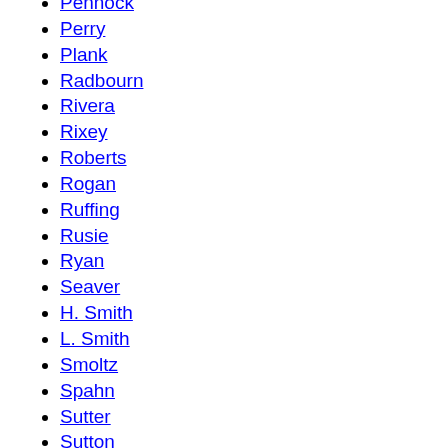Pennock
Perry
Plank
Radbourn
Rivera
Rixey
Roberts
Rogan
Ruffing
Rusie
Ryan
Seaver
H. Smith
L. Smith
Smoltz
Spahn
Sutter
Sutton
Vance
Waddell
Walsh
Welch
Wilhelm
J. Williams
Willis
W...